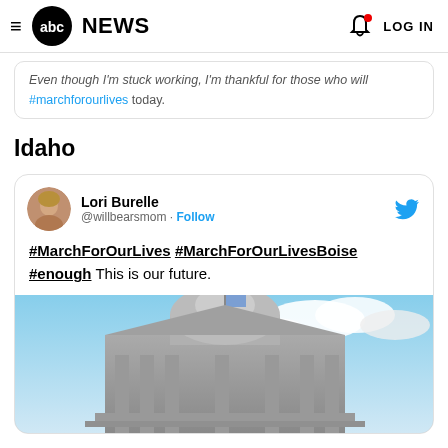ABC NEWS — LOG IN
Even though I'm stuck working, I'm thankful for those who will #marchforourlives today.
Idaho
Lori Burelle @willbearsmom · Follow
#MarchForOurLives #MarchForOurLivesBoise #enough This is our future.
[Figure (photo): Exterior photo of a government capitol building dome with flags, blue sky and clouds in background]